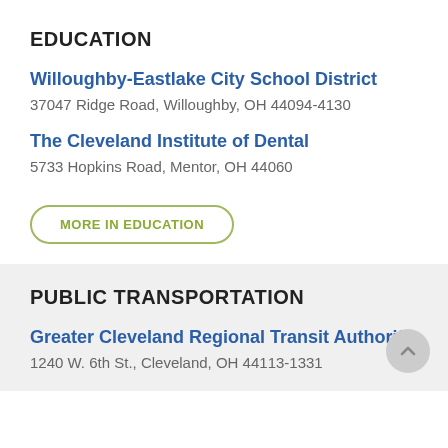EDUCATION
Willoughby-Eastlake City School District
37047 Ridge Road, Willoughby, OH 44094-4130
The Cleveland Institute of Dental
5733 Hopkins Road, Mentor, OH 44060
MORE IN EDUCATION
PUBLIC TRANSPORTATION
Greater Cleveland Regional Transit Authority
1240 W. 6th St., Cleveland, OH 44113-1331